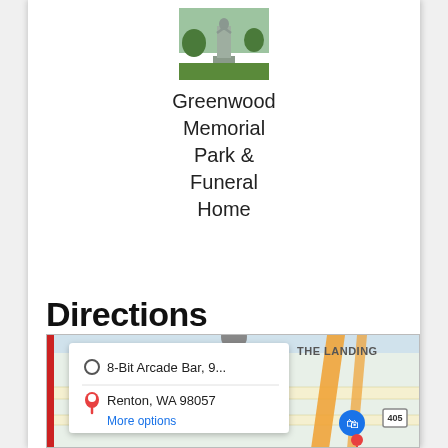[Figure (photo): Photo of a monument/statue at Greenwood Memorial Park with green surroundings]
Greenwood Memorial Park & Funeral Home
Directions
[Figure (screenshot): Google Maps screenshot showing directions from 8-Bit Arcade Bar, 9... to Renton, WA 98057, with a popup showing route options and the THE LANDING area visible, along with a Target store icon and highway 405 badge]